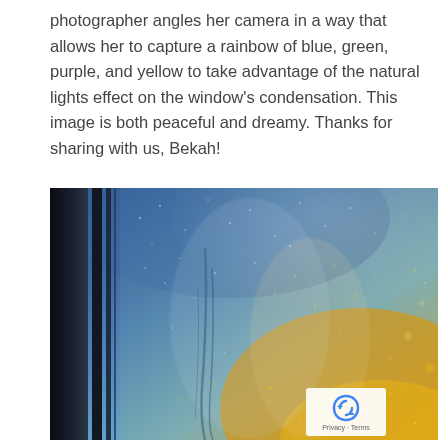photographer angles her camera in a way that allows her to capture a rainbow of blue, green, purple, and yellow to take advantage of the natural lights effect on the window's condensation. This image is both peaceful and dreamy. Thanks for sharing with us, Bekah!
[Figure (photo): Close-up photograph of a window with condensation showing a colorful rainbow effect of blue, green, purple, and yellow from natural light. The left side shows dark window frame elements and the condensation creates a dreamy, glittering texture across the glass.]